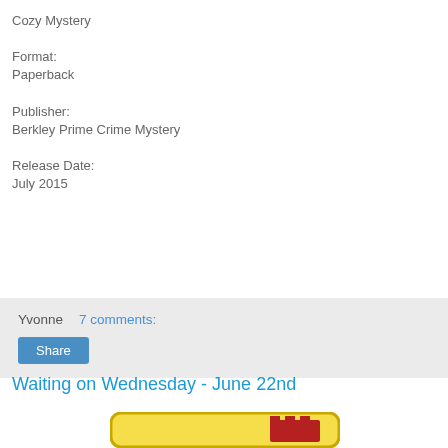Cozy Mystery
Format:
Paperback
Publisher:
Berkley Prime Crime Mystery
Release Date:
July 2015
Yvonne   7 comments:
Share
Waiting on Wednesday - June 22nd
[Figure (illustration): Book cover with yellow background and red castle/building illustration, rounded rectangle border]